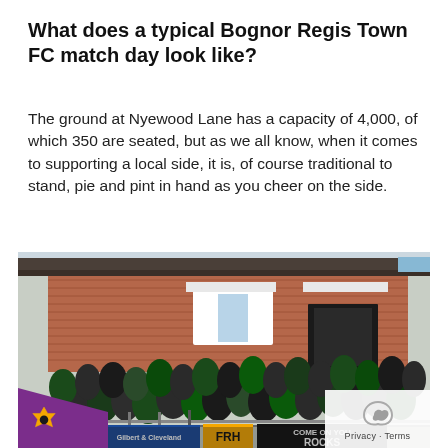What does a typical Bognor Regis Town FC match day look like?
The ground at Nyewood Lane has a capacity of 4,000, of which 350 are seated, but as we all know, when it comes to supporting a local side, it is, of course traditional to stand, pie and pint in hand as you cheer on the side.
[Figure (photo): Crowd of football supporters standing at Nyewood Lane ground, Bognor Regis Town FC, with a brick clubhouse building in the background. Banners visible including 'Gilbert & Cleveland', 'FRH', and 'COME ON YOU ROCKS'.]